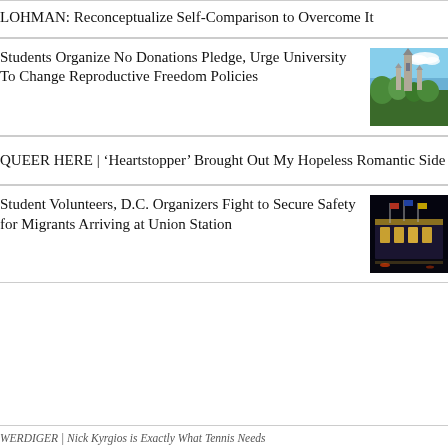LOHMAN: Reconceptualize Self-Comparison to Overcome It
Students Organize No Donations Pledge, Urge University To Change Reproductive Freedom Policies
[Figure (photo): Photo of a gothic university building with spires against a blue sky, surrounded by trees]
QUEER HERE | ‘Heartstopper’ Brought Out My Hopeless Romantic Side
Student Volunteers, D.C. Organizers Fight to Secure Safety for Migrants Arriving at Union Station
[Figure (photo): Night photo of Union Station in Washington D.C. with illuminated facade and flags]
WERDIGER | Nick Kyrgios is Exactly What Tennis Needs